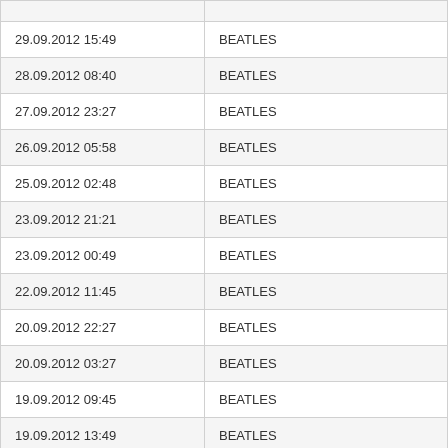| Date | Name |
| --- | --- |
| 29.09.2012 15:49 | BEATLES |
| 28.09.2012 08:40 | BEATLES |
| 27.09.2012 23:27 | BEATLES |
| 26.09.2012 05:58 | BEATLES |
| 25.09.2012 02:48 | BEATLES |
| 23.09.2012 21:21 | BEATLES |
| 23.09.2012 00:49 | BEATLES |
| 22.09.2012 11:45 | BEATLES |
| 20.09.2012 22:27 | BEATLES |
| 20.09.2012 03:27 | BEATLES |
| 19.09.2012 09:45 | BEATLES |
| 19.09.2012 13:49 | BEATLES |